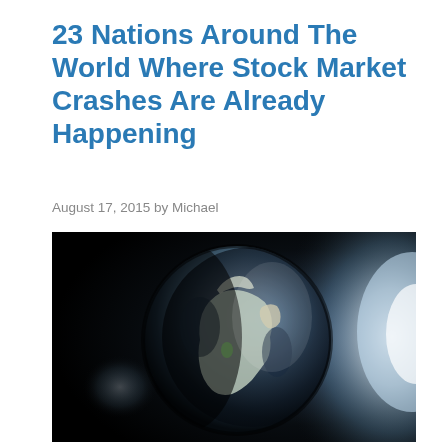23 Nations Around The World Where Stock Market Crashes Are Already Happening
August 17, 2015 by Michael
[Figure (photo): Dramatic space photograph of the Earth globe showing Africa, Europe and the Middle East illuminated from the right side against a dark black space background, with a bright light source (sun) visible at the right edge creating a glowing halo effect.]